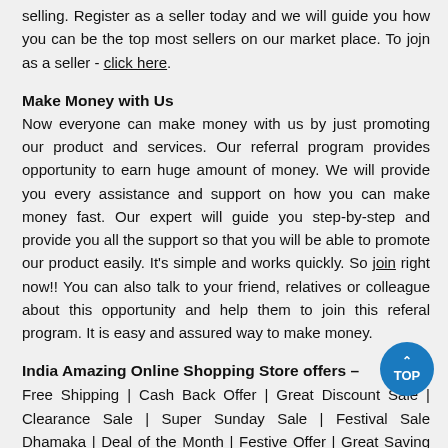selling. Register as a seller today and we will guide you how you can be the top most sellers on our market place. To jojn as a seller - click here.
Make Money with Us
Now everyone can make money with us by just promoting our product and services. Our referral program provides opportunity to earn huge amount of money. We will provide you every assistance and support on how you can make money fast. Our expert will guide you step-by-step and provide you all the support so that you will be able to promote our product easily. It's simple and works quickly. So join right now!! You can also talk to your friend, relatives or colleague about this opportunity and help them to join this referal program. It is easy and assured way to make money.
India Amazing Online Shopping Store offers –
Free Shipping | Cash Back Offer | Great Discount Sale | Clearance Sale | Super Sunday Sale | Festival Sale Dhamaka | Deal of the Month | Festive Offer | Great Saving Day | Offer on Latest Product | Express Delivery | Bulk Buy | Gift Voucher | Easy and Free Return |